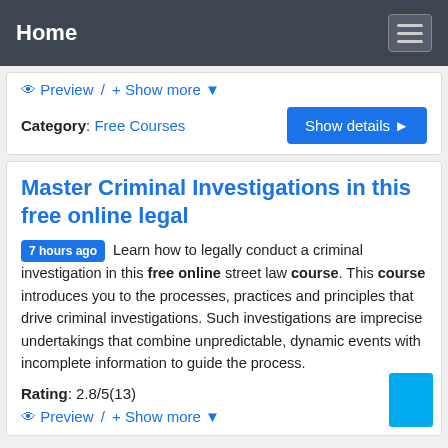Home
Preview / + Show more
Category: Free Courses
Master Criminal Investigations in this free online legal
7 hours ago Learn how to legally conduct a criminal investigation in this free online street law course. This course introduces you to the processes, practices and principles that drive criminal investigations. Such investigations are imprecise undertakings that combine unpredictable, dynamic events with incomplete information to guide the process.
Rating: 2.8/5(13)
Preview / + Show more